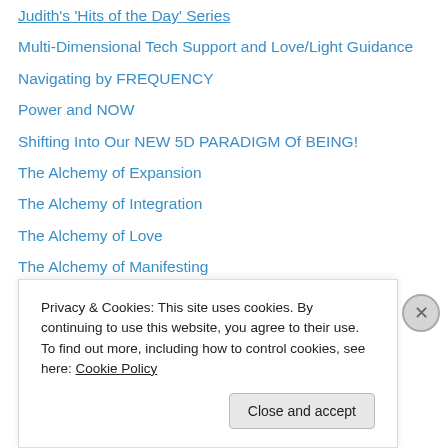Judith's 'Hits of the Day' Series
Multi-Dimensional Tech Support and Love/Light Guidance
Navigating by FREQUENCY
Power and NOW
Shifting Into Our NEW 5D PARADIGM Of BEING!
The Alchemy of Expansion
The Alchemy of Integration
The Alchemy of Love
The Alchemy of Manifesting
The Multi-Dimensional Heart
The Story of Your Light
The Third Dimensional Brain
There is only ONE
Unity Consciousness
Privacy & Cookies: This site uses cookies. By continuing to use this website, you agree to their use.
To find out more, including how to control cookies, see here: Cookie Policy
Close and accept